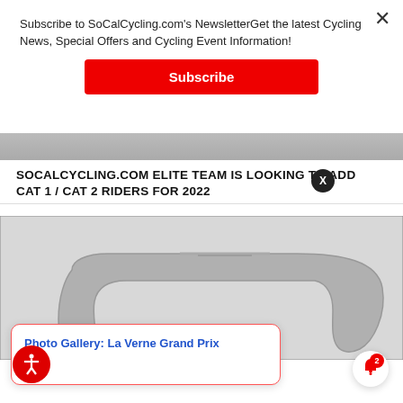Subscribe to SoCalCycling.com's NewsletterGet the latest Cycling News, Special Offers and Cycling Event Information!
Subscribe
SOCALCYCLING.COM ELITE TEAM IS LOOKING TO ADD CAT 1 / CAT 2 RIDERS FOR 2022
[Figure (photo): Partial view of a cycling team photo (top portion cropped)]
[Figure (photo): Close-up photo of a road bicycle handlebar/drop bar, gray metallic, shown against a white background]
Photo Gallery: La Verne Grand Prix
ago